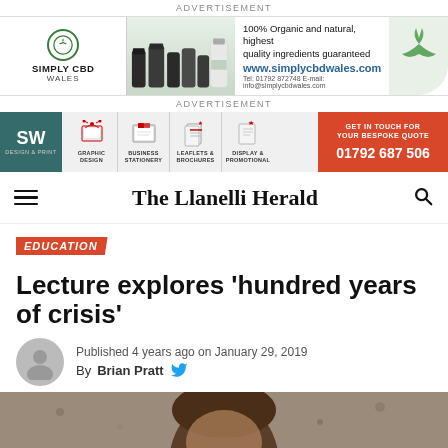ADVERTISEMENT
[Figure (illustration): Simply CBD Wales advertisement banner with logo, product bottles, tagline '100% Organic and natural, highest quality ingredients guaranteed', website www.simplycbdwales.com, Tel: 01792 872748, Email: info@simplycbdwales.com, and a cannabis leaf illustration]
ADVERTISEMENT
[Figure (illustration): SW Design & Print advertisement banner with logo, icons for Graphic Design, Business Stationery, Leaflets & Brochures, Display & Promotional, and CTA 'GET IN TOUCH FOR YOUR BESPOKE QUOTE 01792 687 506']
The Llanelli Herald
EDUCATION
Lecture explores ‘hundred years of crisis’
Published 4 years ago on January 29, 2019
By Brian Pratt
[Figure (photo): Partial photo of a person with dark hair, bottom portion of the page]